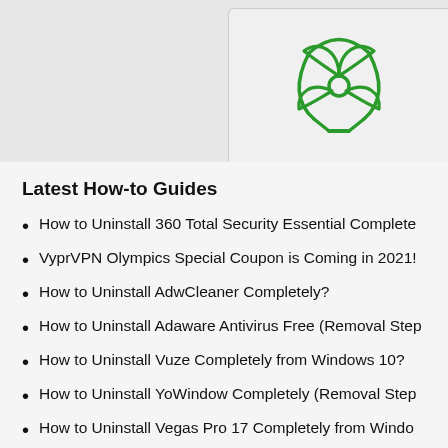[Figure (illustration): Biohazard symbol in green, with ad box for YooSecurity]
Remove virus, spyware & malware with YooSecurity expert services
Latest How-to Guides
How to Uninstall 360 Total Security Essential Complete
VyprVPN Olympics Special Coupon is Coming in 2021!
How to Uninstall AdwCleaner Completely?
How to Uninstall Adaware Antivirus Free (Removal Step
How to Uninstall Vuze Completely from Windows 10?
How to Uninstall YoWindow Completely (Removal Step
How to Uninstall Vegas Pro 17 Completely from Windo